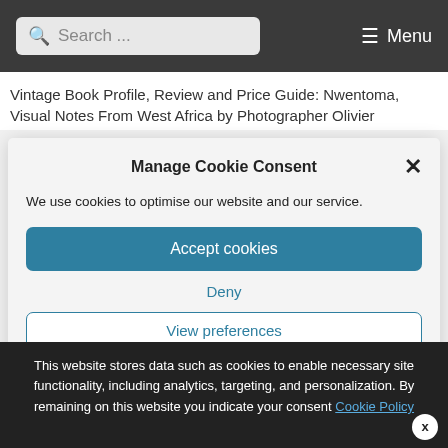Search ... Menu
Vintage Book Profile, Review and Price Guide: Nwentoma, Visual Notes From West Africa by Photographer Olivier
Manage Cookie Consent
We use cookies to optimise our website and our service.
Accept cookies
Deny
View preferences
Contents
This website stores data such as cookies to enable necessary site functionality, including analytics, targeting, and personalization. By remaining on this website you indicate your consent Cookie Policy